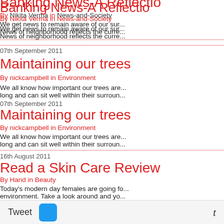Banking News-A Reflection
By Nikita Verma in News-and-Society
We get news to remain aware of our sur... News of neighborhood reflects the curre...
07th September 2011
Maintaining our trees
By nickcampbell in Environment
We all know how important our trees are long and can sit well within their surroun...
16th August 2011
Read a Skin Care Review
By Hand in Beauty
Today's modern day females are going fo... environment. Take a look around and yo...
27th July 2011
Ancient Wisdom and Sea
By lanemary in Cooking & Recipes
The ancient ones did not have TV for dis... elements and natural world. Their lives w...
Tweet